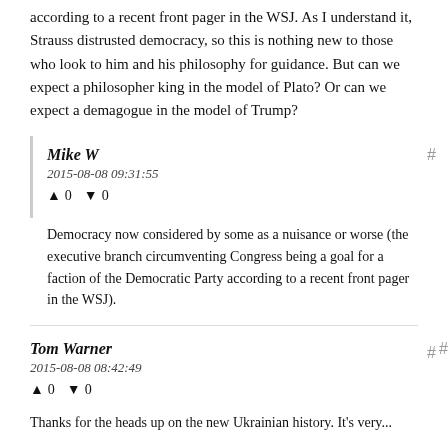according to a recent front pager in the WSJ. As I understand it, Strauss distrusted democracy, so this is nothing new to those who look to him and his philosophy for guidance. But can we expect a philosopher king in the model of Plato? Or can we expect a demagogue in the model of Trump?
Mike W
2015-08-08 09:31:55
↑ 0 ↓ 0
Democracy now considered by some as a nuisance or worse (the executive branch circumventing Congress being a goal for a faction of the Democratic Party according to a recent front pager in the WSJ).
Tom Warner
2015-08-08 08:42:49
↑ 0 ↓ 0
Thanks for the heads up on the new Ukrainian history. It's very...